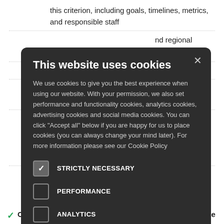this criterion, including goals, timelines, metrics, and responsible staff
nd regional ention against
tices
ctive ms for the
provement
[Figure (screenshot): Cookie consent modal dialog with dark background. Title: 'This website uses cookies'. Body text explains cookie usage. Checkboxes: STRICTLY NECESSARY (checked), PERFORMANCE (unchecked), ANALYTICS (unchecked), FUNCTIONALITY (unchecked), SOCIAL MEDIA (unchecked). Close button (X) in top right corner.]
Outcomes of integration of the anti-corruption principle